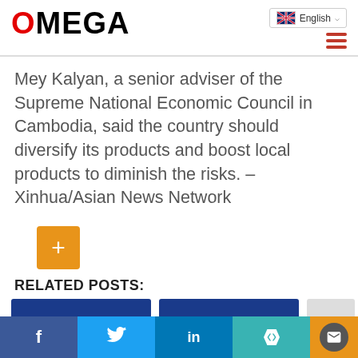OMEGA
Mey Kalyan, a senior adviser of the Supreme National Economic Council in Cambodia, said the country should diversify its products and boost local products to diminish the risks. – Xinhua/Asian News Network
[Figure (other): Orange plus button]
RELATED POSTS:
[Figure (other): Related post thumbnail cards — two blue image placeholders and one partial grey card]
Social share bar: Facebook, Twitter, LinkedIn, Xing, share